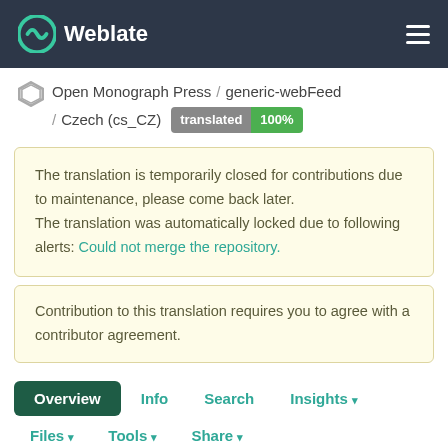Weblate
Open Monograph Press / generic-webFeed / Czech (cs_CZ) translated 100%
The translation is temporarily closed for contributions due to maintenance, please come back later. The translation was automatically locked due to following alerts: Could not merge the repository.
Contribution to this translation requires you to agree with a contributor agreement.
Overview  Info  Search  Insights ▾
Files ▾  Tools ▾  Share ▾